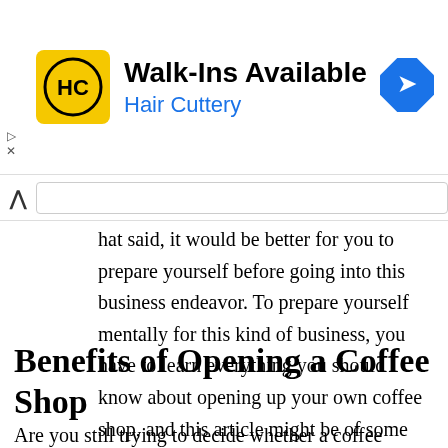[Figure (screenshot): Hair Cuttery advertisement banner: yellow square logo with HC text, 'Walk-Ins Available' headline, 'Hair Cuttery' subtitle in blue, and a blue diamond direction arrow on the right.]
hat said, it would be better for you to prepare yourself before going into this business endeavor. To prepare yourself mentally for this kind of business, you have to learn everything you should know about opening up your own coffee shop, and this article might be of some help.
Benefits of Opening a Coffee Shop
Are you still trying to decide whether a coffee